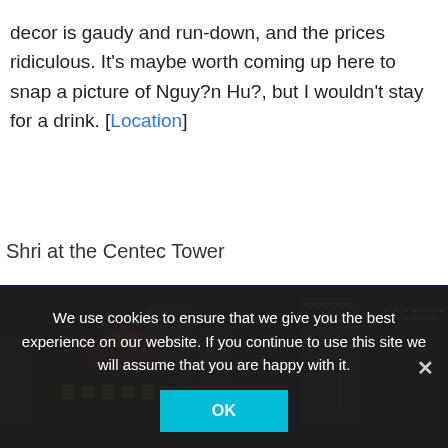decor is gaudy and run-down, and the prices ridiculous. It's maybe worth coming up here to snap a picture of Nguy?n Hu?, but I wouldn't stay for a drink. [Location]
Shri at the Centec Tower
[Figure (photo): Nighttime cityscape photo showing lit skyscrapers and buildings against a dark blue sky, with a traditional-style building with a pointed roof visible in the foreground-left.]
We use cookies to ensure that we give you the best experience on our website. If you continue to use this site we will assume that you are happy with it.